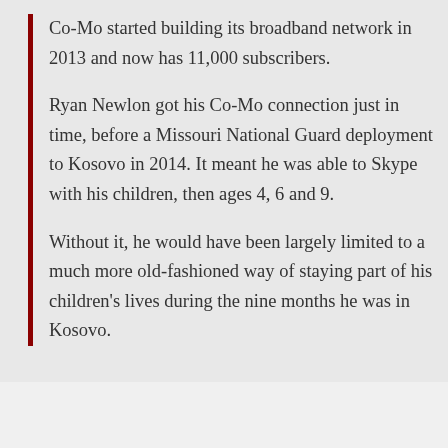Co-Mo started building its broadband network in 2013 and now has 11,000 subscribers. Ryan Newlon got his Co-Mo connection just in time, before a Missouri National Guard deployment to Kosovo in 2014. It meant he was able to Skype with his children, then ages 4, 6 and 9. Without it, he would have been largely limited to a much more old-fashioned way of staying part of his children’s lives during the nine months he was in Kosovo.
Be noisy, it just might work.
82.
[Figure (photo): Avatar image of user AlexanderZ, showing a dark illustrated figure]
AlexanderZ
15 February 2016 at 2:48 pm
Miss watching movies on iPads prefer action to mouse